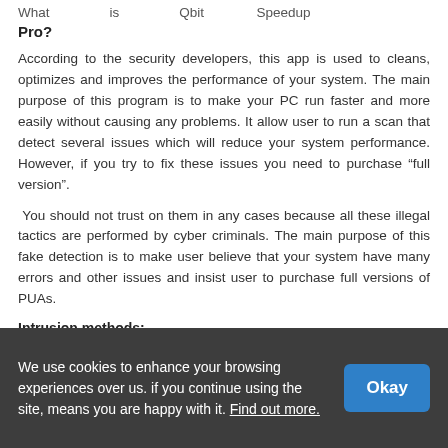What is Qbit Speedup Pro?
According to the security developers, this app is used to cleans, optimizes and improves the performance of your system. The main purpose of this program is to make your PC run faster and more easily without causing any problems. It allow user to run a scan that detect several issues which will reduce your system performance. However, if you try to fix these issues you need to purchase “full version”.
You should not trust on them in any cases because all these illegal tactics are performed by cyber criminals. The main purpose of this fake detection is to make user believe that your system have many errors and other issues and insist user to purchase full versions of PUAs.
Intrusion methods:
These malicious programs are bundled with other free software that you download from the internet. It can also come in your
We use cookies to enhance your browsing experiences over us. if you continue using the site, means you are happy with it. Find out more.